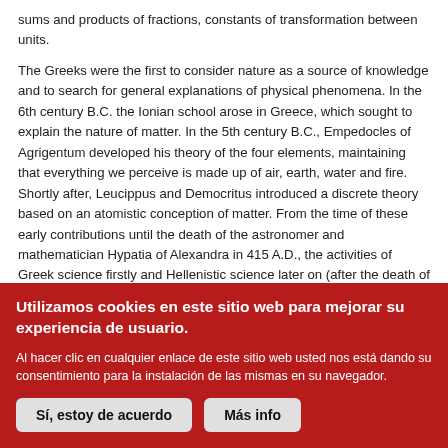sums and products of fractions, constants of transformation between units.
The Greeks were the first to consider nature as a source of knowledge and to search for general explanations of physical phenomena. In the 6th century B.C. the Ionian school arose in Greece, which sought to explain the nature of matter. In the 5th century B.C., Empedocles of Agrigentum developed his theory of the four elements, maintaining that everything we perceive is made up of air, earth, water and fire. Shortly after, Leucippus and Democritus introduced a discrete theory based on an atomistic conception of matter. From the time of these early contributions until the death of the astronomer and mathematician Hypatia of Alexandra in 415 A.D., the activities of Greek science firstly and Hellenistic science later on (after the death of Alexander the Great in 323 A.D.) established the foundations of Western scientific tradition. During this period, for the first time in history there was not only a
Utilizamos cookies en este sitio web para mejorar su experiencia de usuario.
Al hacer clic en cualquier enlace de este sitio web usted nos está dando su consentimiento para la instalación de las mismas en su navegador.
Sí, estoy de acuerdo | Más info